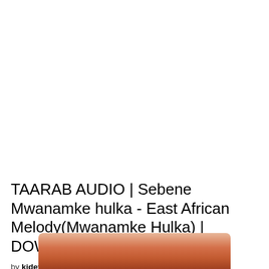TAARAB AUDIO | Sebene Mwanamke hulka - East African Melody(Mwanamke Hulka) | DOWNLOAD Mp3 SONG
by kidevu  -  1 year ago
[Figure (photo): Partial photo of a person's face, cropped at bottom of page, showing warm reddish-brown tones]